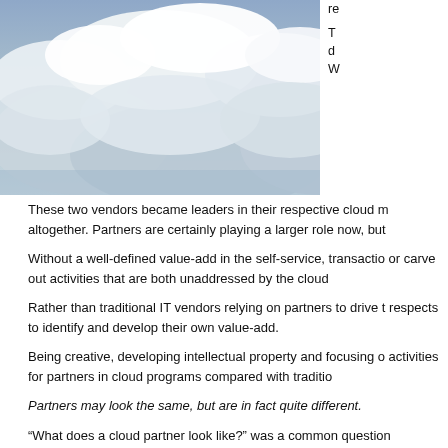[Figure (photo): Aerial photograph of clouds from above, blue-grey sky with white fluffy clouds filling the frame.]
These two vendors became leaders in their respective cloud m altogether. Partners are certainly playing a larger role now, but
Without a well-defined value-add in the self-service, transactio or carve out activities that are both unaddressed by the cloud
Rather than traditional IT vendors relying on partners to drive t respects to identify and develop their own value-add.
Being creative, developing intellectual property and focusing o activities for partners in cloud programs compared with traditio
Partners may look the same, but are in fact quite different.
“What does a cloud partner look like?” was a common question
It was unclear if a new start-up class of born-on-the-cloud partr also the (VAR), distributors and more business aside, or that is